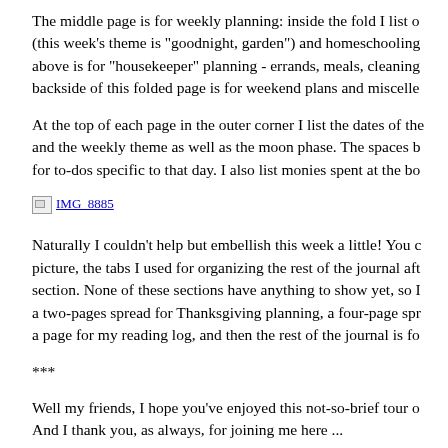The middle page is for weekly planning: inside the fold I list o (this week's theme is "goodnight, garden") and homeschooling above is for "housekeeper" planning - errands, meals, cleaning backside of this folded page is for weekend plans and miscelle
At the top of each page in the outer corner I list the dates of the and the weekly theme as well as the moon phase. The spaces b for to-dos specific to that day. I also list monies spent at the bo
[Figure (photo): Broken image placeholder labeled IMG_8885]
Naturally I couldn't help but embellish this week a little! You c picture, the tabs I used for organizing the rest of the journal aft section. None of these sections have anything to show yet, so I a two-pages spread for Thanksgiving planning, a four-page spr a page for my reading log, and then the rest of the journal is fo
***
Well my friends, I hope you've enjoyed this not-so-brief tour o And I thank you, as always, for joining me here ...
Before I go I'd like to remind you all that when it comes to thi and seasonal planning - everyone does things in their own wa